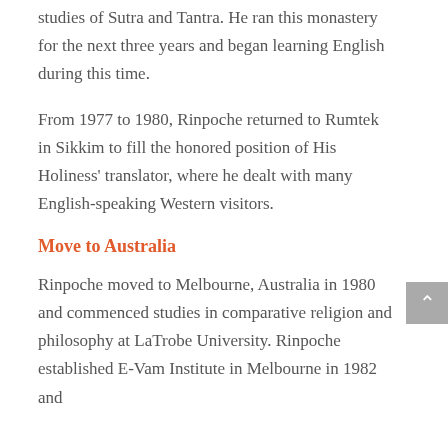studies of Sutra and Tantra. He ran this monastery for the next three years and began learning English during this time.
From 1977 to 1980, Rinpoche returned to Rumtek in Sikkim to fill the honored position of His Holiness' translator, where he dealt with many English-speaking Western visitors.
Move to Australia
Rinpoche moved to Melbourne, Australia in 1980 and commenced studies in comparative religion and philosophy at LaTrobe University. Rinpoche established E-Vam Institute in Melbourne in 1982 and